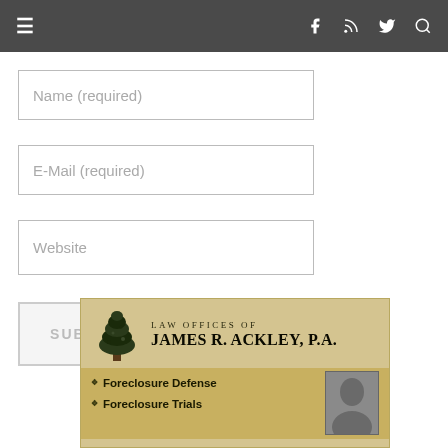≡  f  RSS  Twitter  Search
Name (required)
E-Mail (required)
Website
SUBMIT COMMENT
[Figure (infographic): Advertisement banner for Law Offices of James R. Ackley, P.A. featuring a tree logo, the firm name, and services: Foreclosure Defense, Foreclosure Trials, along with a photo of the attorney.]